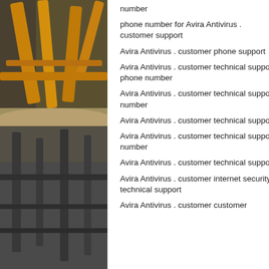[Figure (photo): Two-panel photo on the left side: top half shows bamboo or metal railing structure with orange/yellow tones against a dark background; bottom half shows a darker grey scene with similar structural elements.]
number
phone number for Avira Antivirus . customer support
Avira Antivirus . customer phone support
Avira Antivirus . customer technical support phone number
Avira Antivirus . customer technical support number
Avira Antivirus . customer technical support
Avira Antivirus . customer technical support number
Avira Antivirus . customer technical support
Avira Antivirus . customer internet security technical support
Avira Antivirus . customer customer